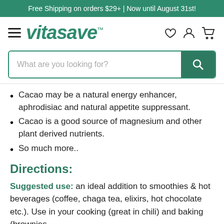Free Shipping on orders $29+ | Now until August 31st!
[Figure (logo): Vitasave logo with hamburger menu and navigation icons (heart, user, cart)]
[Figure (screenshot): Search bar with placeholder text 'What are you looking for?' and green search button]
Cacao may be a natural energy enhancer, aphrodisiac and natural appetite suppressant.
Cacao is a good source of magnesium and other plant derived nutrients.
So much more..
Directions:
Suggested use: an ideal addition to smoothies & hot beverages (coffee, chaga tea, elixirs, hot chocolate etc.). Use in your cooking (great in chili) and baking (brownies